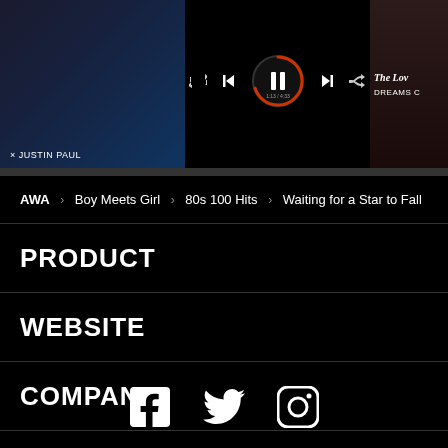[Figure (screenshot): Music app screenshot showing album art panels and media player controls with play/pause button in the center, progress arc in orange/red. Left panel shows dark blue album art with text. Right panel shows dark red album with italic title 'The Lov...' and 'DREAMS C...']
AWA > Boy Meets Girl > 80s 100 Hits > Waiting for a Star to Fall
PRODUCT
WEBSITE
COMPANY
[Figure (illustration): Social media icons: Facebook, Twitter, Instagram in white on black background]